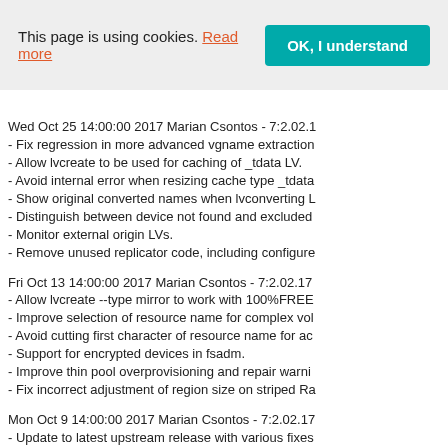This page is using cookies. Read more  OK, I understand
Wed Oct 25 14:00:00 2017 Marian Csontos - 7:2.02.1
- Fix regression in more advanced vgname extraction
- Allow lvcreate to be used for caching of _tdata LV.
- Avoid internal error when resizing cache type _tdata
- Show original converted names when lvconverting L
- Distinguish between device not found and excluded
- Monitor external origin LVs.
- Remove unused replicator code, including configure
Fri Oct 13 14:00:00 2017 Marian Csontos - 7:2.02.17
- Allow lvcreate --type mirror to work with 100%FREE
- Improve selection of resource name for complex vol
- Avoid cutting first character of resource name for ac
- Support for encrypted devices in fsadm.
- Improve thin pool overprovisioning and repair warni
- Fix incorrect adjustment of region size on striped Ra
Mon Oct 9 14:00:00 2017 Marian Csontos - 7:2.02.17
- Update to latest upstream release with various fixes enhancements documented in WHATS_NEW and WH
Wed Jun 28 14:00:00 2017 Marian Csontos - 7:2.02.1
- Fix reusing of dm_task structure for status reading (
Thu Jun 22 14:00:00 2017 Marian Csontos - 7:2.02.1
- Fix a segfault in RAID.
Wed Jun 21 14:00:00 2017 Marian Csontos - 7:2.02.1